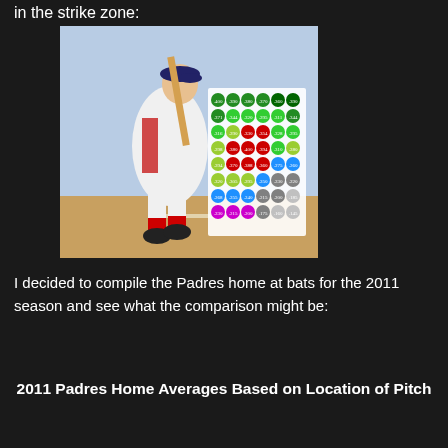in the strike zone:
[Figure (photo): A baseball player in a white uniform holding a bat in batting stance at home plate, with a colorful strike zone chart overlaid showing batting averages by pitch location. The chart shows a grid of colored circles with numbers representing batting averages in different zones of the strike zone.]
I decided to compile the Padres home at bats for the 2011 season and see what the comparison might be:
2011 Padres Home Averages Based on Location of Pitch